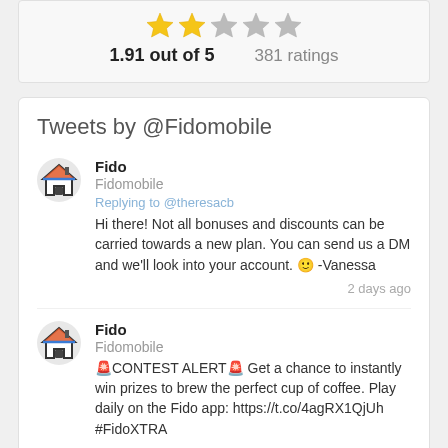[Figure (other): Star rating display: 2 gold stars, 1 grey star, 2 grey stars. Rating: 1.91 out of 5, 381 ratings]
Tweets by @Fidomobile
[Figure (other): Fido house emoji avatar]
Fido
Fidomobile
Replying to @theresacb
Hi there! Not all bonuses and discounts can be carried towards a new plan. You can send us a DM and we'll look into your account. 🙂 -Vanessa
2 days ago
[Figure (other): Fido house emoji avatar]
Fido
Fidomobile
🚨CONTEST ALERT🚨 Get a chance to instantly win prizes to brew the perfect cup of coffee. Play daily on the Fido app: https://t.co/4agRX1QjUh #FidoXTRA